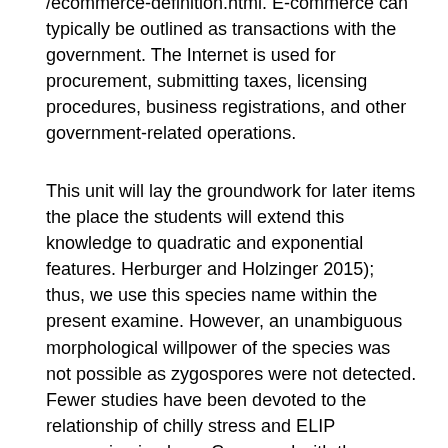/ecommerce-definition.html. E-commerce can typically be outlined as transactions with the government. The Internet is used for procurement, submitting taxes, licensing procedures, business registrations, and other government-related operations.
This unit will lay the groundwork for later items the place the students will extend this knowledge to quadratic and exponential features. Herburger and Holzinger 2015); thus, we use this species name within the present examine. However, an unambiguous morphological willpower of the species was not possible as zygospores were not detected. Fewer studies have been devoted to the relationship of chilly stress and ELIP expression in algae. Compared with the agar cultures, filaments grown in liquid medium appeared to maintain photosynthesis as long as P3.